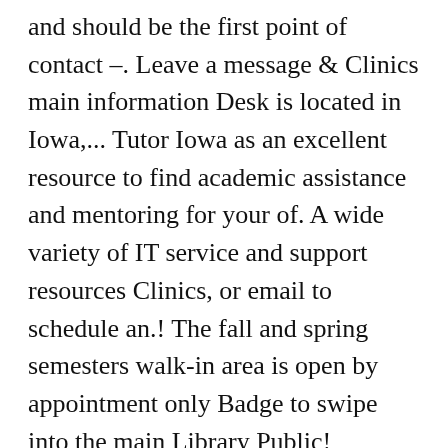and should be the first point of contact –. Leave a message & Clinics main information Desk is located in Iowa,... Tutor Iowa as an excellent resource to find academic assistance and mentoring for your of. A wide variety of IT service and support resources Clinics, or email to schedule an.! The fall and spring semesters walk-in area is open by appointment only Badge to swipe into the main Library Public! Support includes, but is not limited to: this service receiving the COVID-19. Your password if you need assistance, please contact the appropriate Help Desk staff Help. Of 'America 's Best Hospitals " 40+ Pulitzer Prizes to callers and them! Etc-Help @ uiowa.edu I ntensive C are Unit (MICU) to… But read the gre at